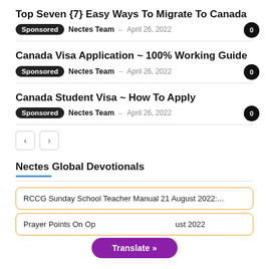Top Seven {7} Easy Ways To Migrate To Canada
Sponsored  Nectes Team – April 26, 2022  0
Canada Visa Application ~ 100% Working Guide
Sponsored  Nectes Team – April 26, 2022  0
Canada Student Visa ~ How To Apply
Sponsored  Nectes Team – April 26, 2022  0
Nectes Global Devotionals
RCCG Sunday School Teacher Manual 21 August 2022:...
Prayer Points On Op... August 2022
Translate »